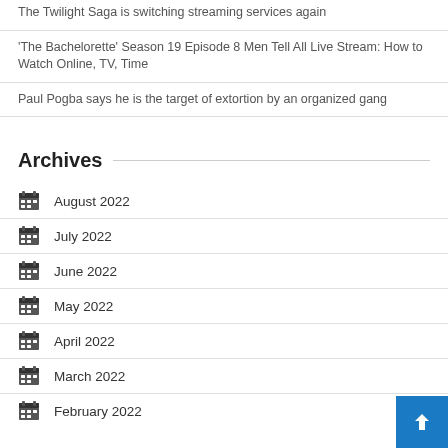The Twilight Saga is switching streaming services again
'The Bachelorette' Season 19 Episode 8 Men Tell All Live Stream: How to Watch Online, TV, Time
Paul Pogba says he is the target of extortion by an organized gang
Archives
August 2022
July 2022
June 2022
May 2022
April 2022
March 2022
February 2022